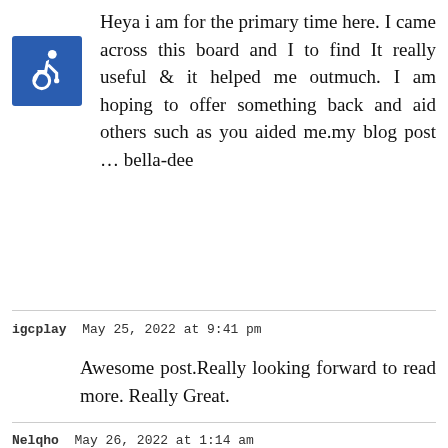[Figure (illustration): Blue square icon with white wheelchair accessibility symbol]
Heya i am for the primary time here. I came across this board and I to find It really useful & it helped me outmuch. I am hoping to offer something back and aid others such as you aided me.my blog post … bella-dee
igcplay  May 25, 2022 at 9:41 pm
Awesome post.Really looking forward to read more. Really Great.
Nelqho  May 26, 2022 at 1:14 am